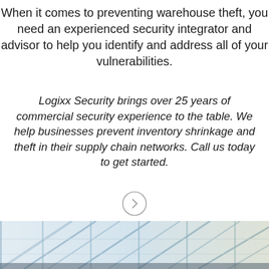When it comes to preventing warehouse theft, you need an experienced security integrator and advisor to help you identify and address all of your vulnerabilities.
Logixx Security brings over 25 years of commercial security experience to the table. We help businesses prevent inventory shrinkage and theft in their supply chain networks. Call us today to get started.
[Figure (other): Circular arrow/chevron button (next arrow icon)]
[Figure (photo): Warehouse interior photo showing steel structural beams and roof trusses with blue tint lighting]